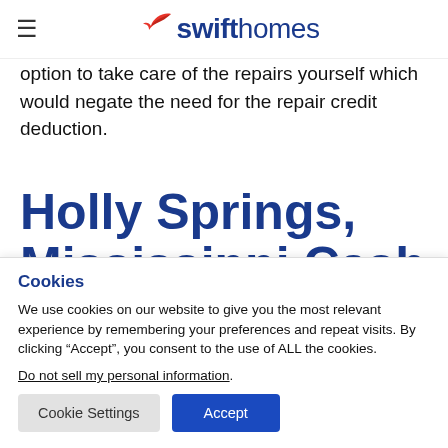swifthomes
option to take care of the repairs yourself which would negate the need for the repair credit deduction.
Holly Springs, Mississippi Cash
Cookies
We use cookies on our website to give you the most relevant experience by remembering your preferences and repeat visits. By clicking “Accept”, you consent to the use of ALL the cookies.
Do not sell my personal information.
Cookie Settings  Accept